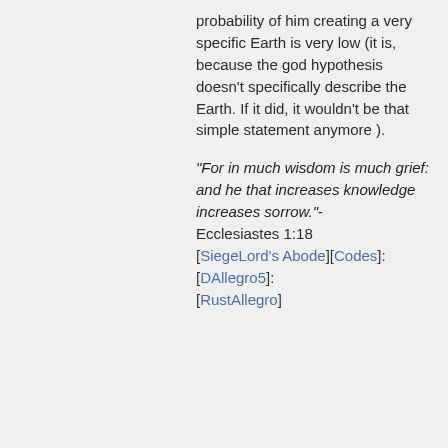probability of him creating a very specific Earth is very low (it is, because the god hypothesis doesnt specifically describe the Earth. If it did, it wouldnt be that simple statement anymore ).
"For in much wisdom is much grief: and he that increases knowledge increases sorrow."-Ecclesiastes 1:18 [SiegeLord's Abode][Codes]:[DAllegro5]:[RustAllegro]
gnolam
Member #2,030
March 2002
[Figure (photo): Black and white portrait photo of a man with short dark hair, serious expression, wearing a dark jacket]
Posted on 06/11/2012 2:23 PM
23yrold3yrold said: Even if you want to accept that there's no evidence for religions (most of the existing objective evidence being historical or archaeological, not scientific; sorry if that's not convenient)
I don't think anyone disputes that there's plenty of evidence for the existence of religion. As for "evidence of $religion having a basis in fact", then... no, not really. If you